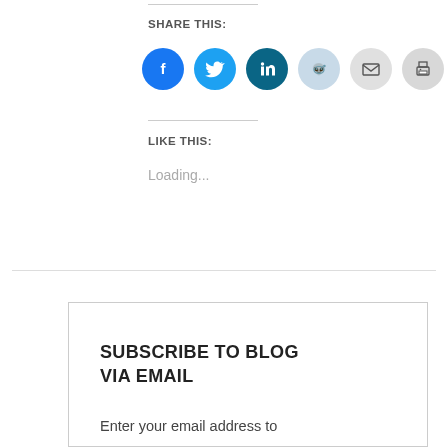SHARE THIS:
[Figure (infographic): Social share buttons: Facebook (blue circle), Twitter (blue circle), LinkedIn (dark teal circle), Reddit (light blue circle), Email (gray circle), Print (gray circle)]
LIKE THIS:
Loading...
SUBSCRIBE TO BLOG VIA EMAIL
Enter your email address to